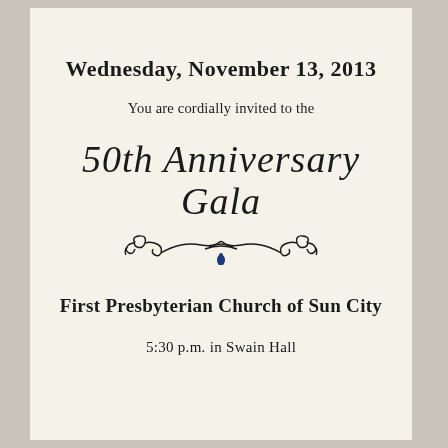Wednesday, November 13, 2013
You are cordially invited to the
50th Anniversary Gala
[Figure (illustration): Decorative calligraphic ornament with scrollwork and a blue teardrop accent below the title text]
First Presbyterian Church of Sun City
5:30 p.m. in Swain Hall